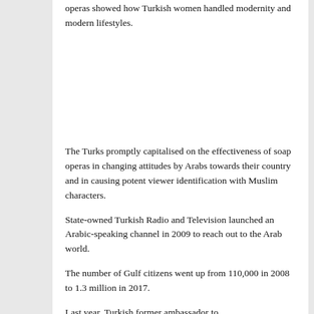operas showed how Turkish women handled modernity and modern lifestyles.
The Turks promptly capitalised on the effectiveness of soap operas in changing attitudes by Arabs towards their country and in causing potent viewer identification with Muslim characters.
State-owned Turkish Radio and Television launched an Arabic-speaking channel in 2009 to reach out to the Arab world.
The number of Gulf citizens went up from 110,000 in 2008 to 1.3 million in 2017.
Last year, Turkish former ambassador to